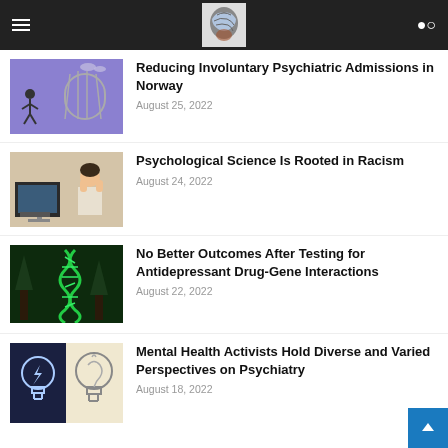Reducing Involuntary Psychiatric Admissions in Norway
August 25, 2022
Psychological Science Is Rooted in Racism
August 24, 2022
No Better Outcomes After Testing for Antidepressant Drug-Gene Interactions
August 22, 2022
Mental Health Activists Hold Diverse and Varied Perspectives on Psychiatry
August 18, 2022